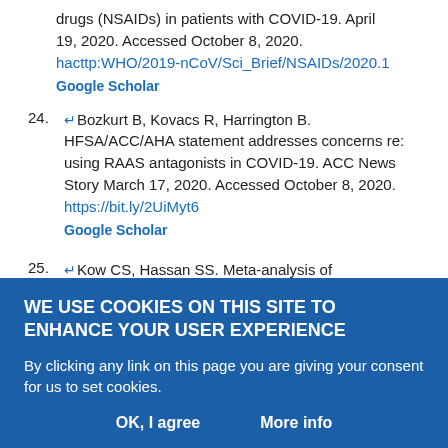drugs (NSAIDs) in patients with COVID-19. April 19, 2020. Accessed October 8, 2020. hacttp:WHO/2019-nCoV/Sci_Brief/NSAIDs/2020.1 Google Scholar
24. Bozkurt B, Kovacs R, Harrington B. HFSA/ACC/AHA statement addresses concerns re: using RAAS antagonists in COVID-19. ACC News Story March 17, 2020. Accessed October 8, 2020. https://bit.ly/2UiMyt6 Google Scholar
25. Kow CS, Hassan SS. Meta-analysis of effectiveness of statins in patients with severe COVID-19. Am J Cardiol 2020 Aug 12;S0002-9149(20)30823-7. doi:10.1016/j.amjcard.2020.08.004 CrossRef Google Scholar
26. Zhu L, She Z-G, Cheng X, et al. Association of blood glucose control
WE USE COOKIES ON THIS SITE TO ENHANCE YOUR USER EXPERIENCE
By clicking any link on this page you are giving your consent for us to set cookies.
OK, I agree    More info